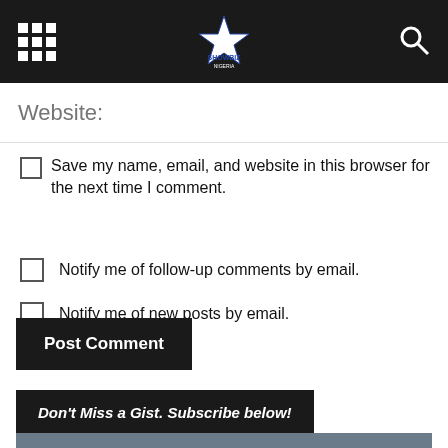Showbiz Nigeria
Website:
Save my name, email, and website in this browser for the next time I comment.
Notify me of follow-up comments by email.
Notify me of new posts by email.
Post Comment
Don't Miss a Gist. Subscribe below!
Enter your Email
Your Email